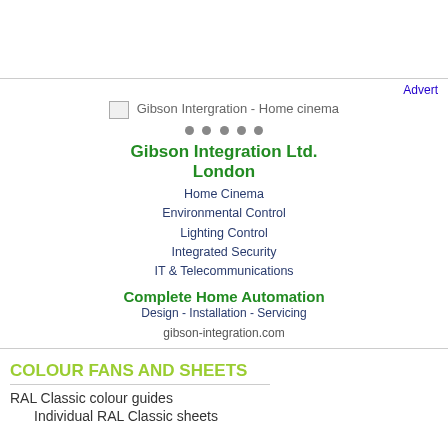[Figure (screenshot): Gibson Integration - Home cinema advertisement block with placeholder image, dots navigation, company name, services list, and website]
Advert
Gibson Integration Ltd. London
Home Cinema
Environmental Control
Lighting Control
Integrated Security
IT & Telecommunications
Complete Home Automation
Design - Installation - Servicing
gibson-integration.com
COLOUR FANS AND SHEETS
RAL Classic colour guides
Individual RAL Classic sheets